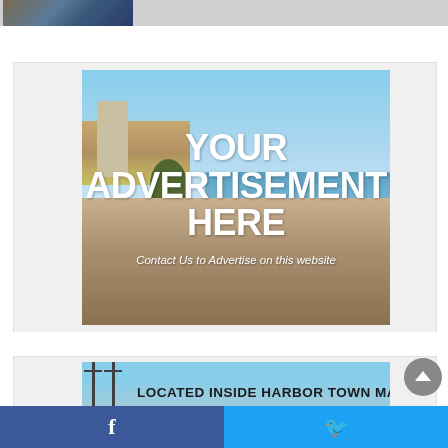[Figure (photo): Partial photo strip at top of page showing buildings]
[Figure (infographic): Advertisement banner with beach photo background. Large white bold text reads YOUR ADVERTISEMENT HERE with italic subtext: Contact Us to Advertise on this website]
[Figure (photo): Partial banner at bottom showing boats/masts with text LOCATED INSIDE HARBOR TOWN MARINA]
f [Facebook icon]  [Twitter bird icon]